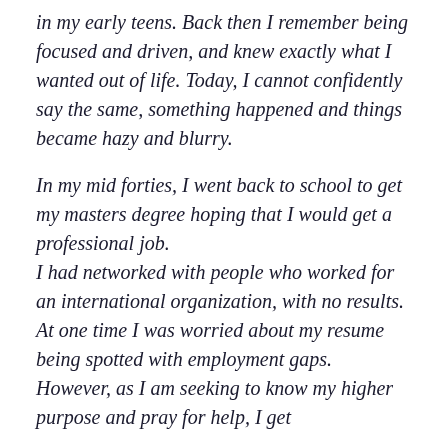in my early teens. Back then I remember being focused and driven, and knew exactly what I wanted out of life. Today, I cannot confidently say the same, something happened and things became hazy and blurry.
In my mid forties, I went back to school to get my masters degree hoping that I would get a professional job. I had networked with people who worked for an international organization, with no results. At one time I was worried about my resume being spotted with employment gaps. However, as I am seeking to know my higher purpose and pray for help, I get